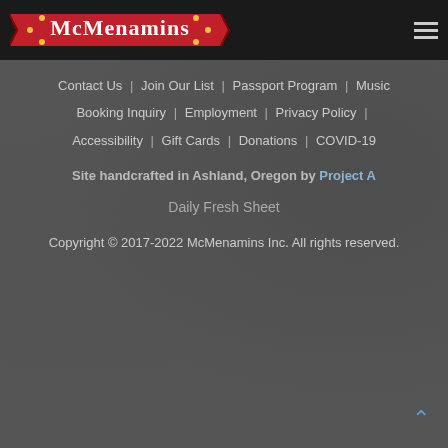[Figure (logo): McMenamins logo on red ribbon banner with decorative scroll ends]
Contact Us | Join Our List | Passport Program | Music | Booking Inquiry | Employment | Privacy Policy | Accessibility | Gift Cards | Donations | COVID-19
Site handcrafted in Ashland, Oregon by Project A
Daily Fresh Sheet
Copyright © 2017-2022 McMenamins Inc. All rights reserved.